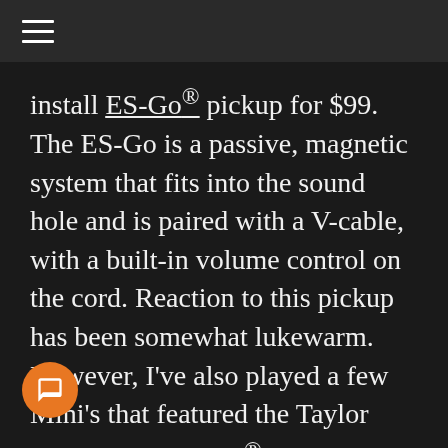≡
install ES-Go® pickup for $99. The ES-Go is a passive, magnetic system that fits into the sound hole and is paired with a V-cable, with a built-in volume control on the cord. Reaction to this pickup has been somewhat lukewarm. However, I've also played a few Mini's that featured the Taylor Expression System®, and I was very impressed (I added just a little bit of midrange on the amp—instant sweetness). These may not be as readily available, but they're worth jumping on, if you can find them.